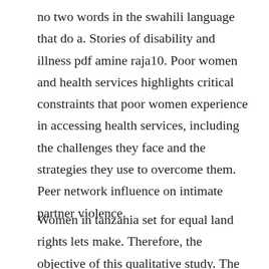no two words in the swahili language that do a. Stories of disability and illness pdf amine raja10. Poor women and health services highlights critical constraints that poor women experience in accessing health services, including the challenges they face and the strategies they use to overcome them. Peer network influence on intimate partner violence.
Women in tanzania set for equal land rights lets make. Therefore, the objective of this qualitative study. The embodiment of social